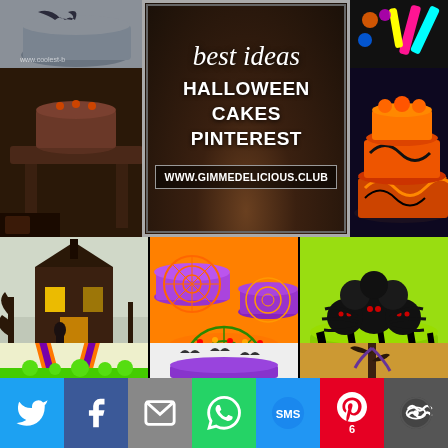[Figure (photo): Collage of Halloween cake photos with center banner. Left column shows grey bat cake and brown Halloween cake. Center panel shows 'best ideas HALLOWEEN CAKES PINTEREST' text on dark wood background. Right column shows colorful Halloween cakes in orange/black and neon colors.]
best ideas
HALLOWEEN CAKES
PINTEREST
WWW.GIMMEDELICIOUS.CLUB
[Figure (photo): Haunted house chocolate cake with bare trees]
[Figure (photo): Halloween spider web cakes in orange and purple with candy decorations]
[Figure (photo): Black spider cake on green drip base]
[Figure (photo): Witch legs/feet cauldron cake in green and orange stripes]
[Figure (photo): Purple tiered cake with bat decorations and haunted house]
[Figure (photo): Elaborate witch figure cake with tree and feathers]
Social sharing bar: Twitter, Facebook, Email, WhatsApp, SMS, Pinterest (6), More